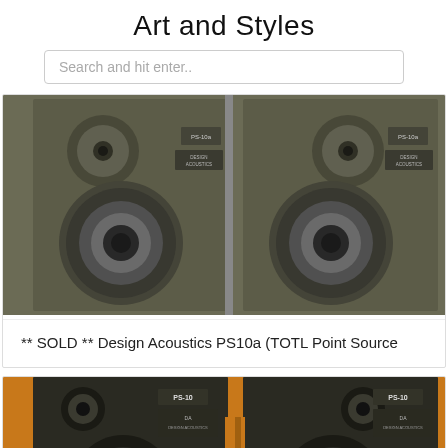Art and Styles
Search and hit enter..
[Figure (photo): Two dark brown/olive colored Design Acoustics PS10a loudspeakers shown from the front, each with a dome tweeter at top and large woofer in the center, labeled PS-10a with Design Acoustics branding badge.]
** SOLD ** Design Acoustics PS10a (TOTL Point Source
[Figure (photo): Two large black loudspeakers labeled PS-10 shown from the front against a warm golden/orange background, with PS-10 badges and Design Acoustics logos visible, partially cut off at bottom.]